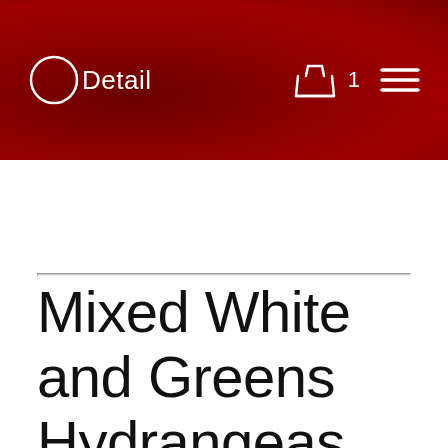Detail  1
Mixed White and Greens Hydrangeas